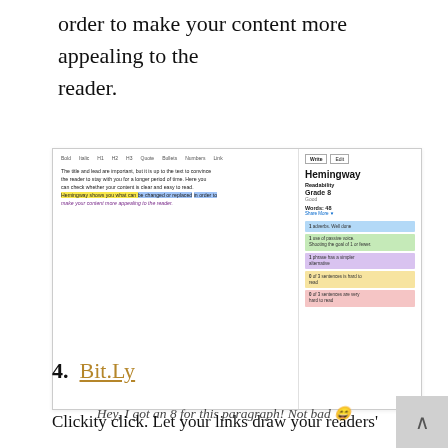order to make your content more appealing to the reader.
[Figure (screenshot): Screenshot of the Hemingway Editor web app showing a paragraph of text with yellow and blue highlights, and a sidebar displaying readability grade 8 (Good), word count 48, and colored stat bars for adverbs, passive voice, phrases with simpler alternatives, hard to read sentences, and very hard to read sentences.]
Hey, I got an 8 for this paragraph! Not bad 😀
4.  Bit.Ly
Clickity click. Let your links draw your readers'